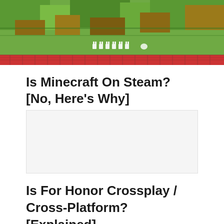[Figure (screenshot): Aerial view of a Minecraft game scene showing green and brown pixel terrain with small white bunny/rabbit characters aligned in a row and red brick-like pattern along the bottom edge]
Is Minecraft On Steam? [No, Here's Why]
[Figure (other): Advertisement placeholder box (light gray background)]
Is For Honor Crossplay / Cross-Platform? [Explained]